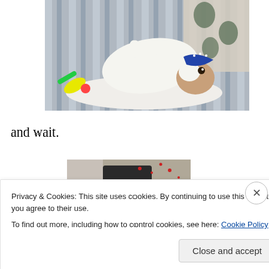[Figure (photo): A dog wearing a blue bandana lying on its back on a striped sofa cushion, with a colorful toy nearby and a patterned pillow in the background.]
and wait.
[Figure (photo): Partial view of a second photo, appears to show a dark surface with scattered items.]
Privacy & Cookies: This site uses cookies. By continuing to use this website, you agree to their use.
To find out more, including how to control cookies, see here: Cookie Policy
Close and accept